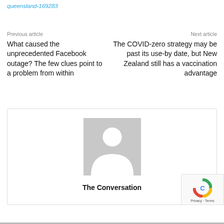queensland-169283
Previous article
Next article
What caused the unprecedented Facebook outage? The few clues point to a problem from within
The COVID-zero strategy may be past its use-by date, but New Zealand still has a vaccination advantage
[Figure (illustration): Profile card with grey placeholder avatar silhouette image and bold text 'The Conversation' below it, inside a bordered card.]
The Conversation